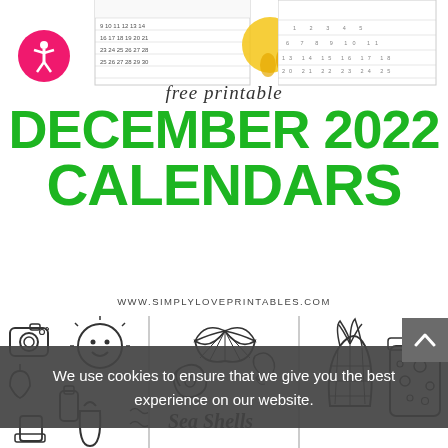[Figure (illustration): Preview thumbnails of December 2022 printable calendars with a sun decoration and accessibility icon]
free printable
DECEMBER 2022
CALENDARS
WWW.SIMPLYLOVEPRINTABLES.COM
[Figure (illustration): Row of coloring page thumbnails featuring summer doodles, sea shells text, and other illustrations]
We use cookies to ensure that we give you the best experience on our website.